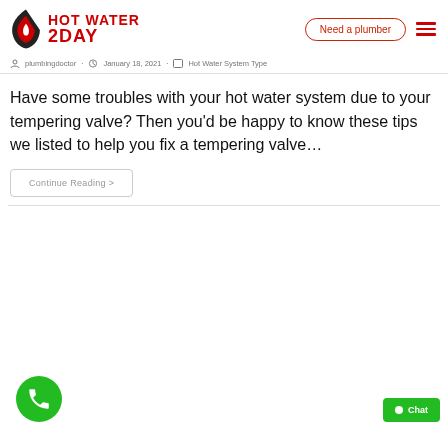HOT WATER 2DAY | Need a plumber
plumbingdoctor · January 18, 2021 · Hot Water System Type
Have some troubles with your hot water system due to your tempering valve? Then you'd be happy to know these tips we listed to help you fix a tempering valve…
Continue Reading >
[Figure (illustration): Green circular phone/call button in bottom left corner]
Chat